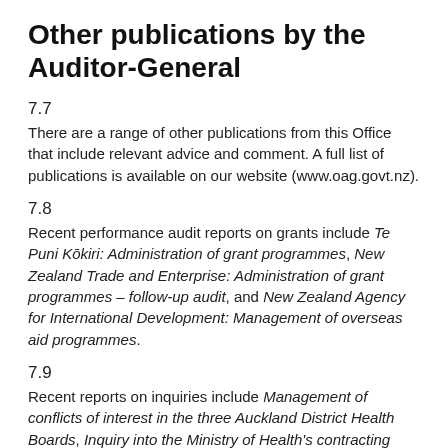Other publications by the Auditor-General
7.7
There are a range of other publications from this Office that include relevant advice and comment. A full list of publications is available on our website (www.oag.govt.nz).
7.8
Recent performance audit reports on grants include Te Puni Kōkiri: Administration of grant programmes, New Zealand Trade and Enterprise: Administration of grant programmes – follow-up audit, and New Zealand Agency for International Development: Management of overseas aid programmes.
7.9
Recent reports on inquiries include Management of conflicts of interest in the three Auckland District Health Boards, Inquiry into the Ministry of Health's contracting with Allen and Clarke Policy and Regulatory Specialists,